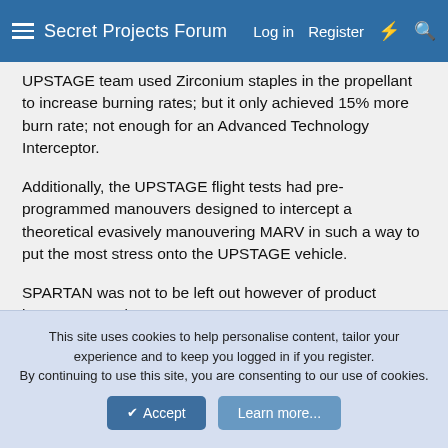Secret Projects Forum   Log in   Register
UPSTAGE team used Zirconium staples in the propellant to increase burning rates; but it only achieved 15% more burn rate; not enough for an Advanced Technology Interceptor.
Additionally, the UPSTAGE flight tests had pre-programmed manouvers designed to intercept a theoretical evasively manouvering MARV in such a way to put the most stress onto the UPSTAGE vehicle.
SPARTAN was not to be left out however of product improvement plans.
From March 1969 onwards, a product improved SPARTAN was always planned for Phase II of SAFEGUARD, under the following names:
This site uses cookies to help personalise content, tailor your experience and to keep you logged in if you register.
By continuing to use this site, you are consenting to our use of cookies.